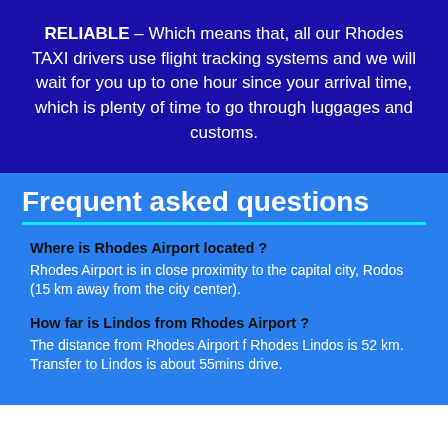RELIABLE – Which means that, all our Rhodes TAXI drivers use flight tracking systems and we will wait for you up to one hour since your arrival time, which is plenty of time to go through luggages and customs.
Frequent asked questions
Where is Rhodes Airport located ? Rhodes Airport is in close proximity to the capital city, Rodos (15 km away from the city center).
How far is Lindos from Rhodes Airport ? The distance from Rhodes Airport f Rhodes Lindos is 52 km. Transfer to Lindos is about 55mins drive.